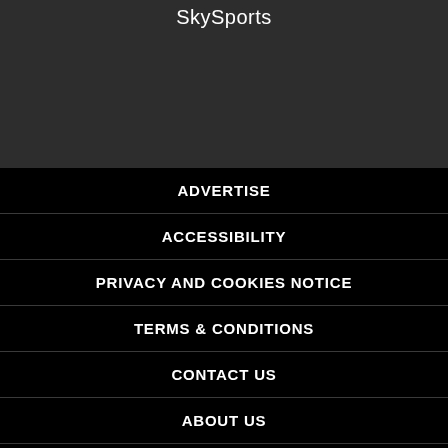SkySports
ADVERTISE
ACCESSIBILITY
PRIVACY AND COOKIES NOTICE
TERMS & CONDITIONS
CONTACT US
ABOUT US
CONSENT SETTINGS